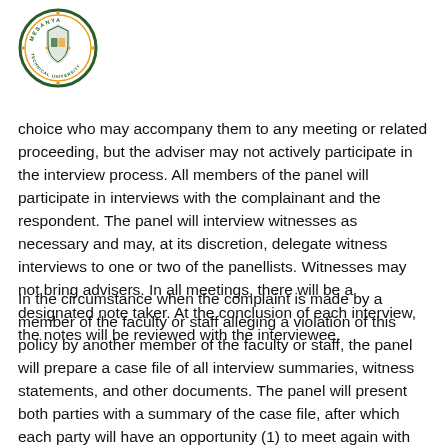[Figure (logo): Mesanya Technical University circular logo with crest]
choice who may accompany them to any meeting or related proceeding, but the adviser may not actively participate in the interview process. All members of the panel will participate in interviews with the complainant and the respondent. The panel will interview witnesses as necessary and may, at its discretion, delegate witness interviews to one or two of the panellists. Witnesses may not bring advisers. In all meetings, there will be a designated note taker. At the conclusion of each interview, the notes will be reviewed with the interviewee.
In the circumstance when the complaint is made by a member of the faculty or staff alleging a violation of this policy by another member of the faculty or staff, the panel will prepare a case file of all interview summaries, witness statements, and other documents. The panel will present both parties with a summary of the case file, after which each party will have an opportunity (1) to meet again with the panel,